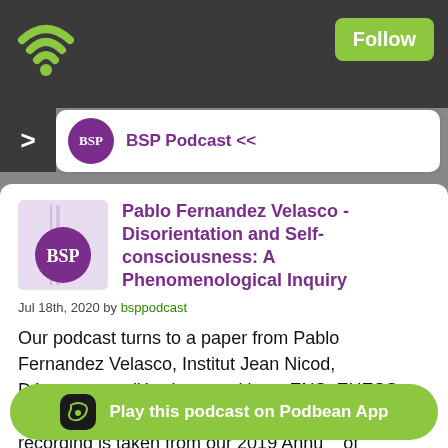[Figure (screenshot): WiFi/podcast app icon in top-left of dark header bar]
Follow
BSP Podcast <<
Pablo Fernandez Velasco - Disorientation and Self-consciousness: A Phenomenological Inquiry
Jul 18th, 2020 by bsppodcast
Our podcast turns to a paper from Pablo Fernandez Velasco, Institut Jean Nicod, Département d'études cognitives, ENS, EHESS, CNRS, PSL; and University College London. The recording is taken from our 2019 Annual ... of Phenomenology.
Play this podcast on Podbean App